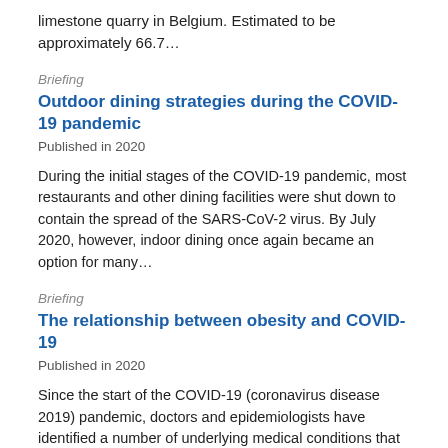limestone quarry in Belgium. Estimated to be approximately 66.7…
Briefing
Outdoor dining strategies during the COVID-19 pandemic
Published in 2020
During the initial stages of the COVID-19 pandemic, most restaurants and other dining facilities were shut down to contain the spread of the SARS-CoV-2 virus. By July 2020, however, indoor dining once again became an option for many…
Briefing
The relationship between obesity and COVID-19
Published in 2020
Since the start of the COVID-19 (coronavirus disease 2019) pandemic, doctors and epidemiologists have identified a number of underlying medical conditions that are significantly correlated with severe illness from COVID-19. One such notable…